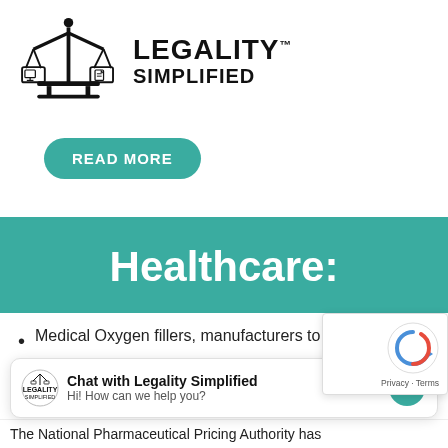[Figure (logo): Legality Simplified logo: scales of justice with a computer monitor and document icon, next to bold text LEGALITY™ SIMPLIFIED]
READ MORE
Healthcare:
Medical Oxygen fillers, manufacturers to sub...
[Figure (screenshot): Chat widget: Chat with Legality Simplified - Hi! How can we help you? with Messenger icon. reCAPTCHA overlay visible.]
The National Pharmaceutical Pricing Authority has